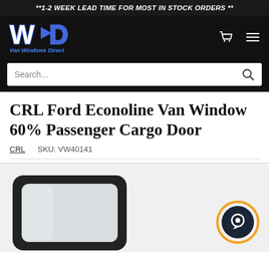**1-2 WEEK LEAD TIME FOR MOST IN STOCK ORDERS **
[Figure (logo): Van Windows Direct logo — WD letters in white and blue with 'Van Windows Direct' text below]
CRL Ford Econoline Van Window 60% Passenger Cargo Door
CRL  SKU: VW40141
[Figure (photo): Product photo showing a black-framed rectangular van window with rounded corners, partially visible. An orange and dark chat button icon is in the lower right corner.]